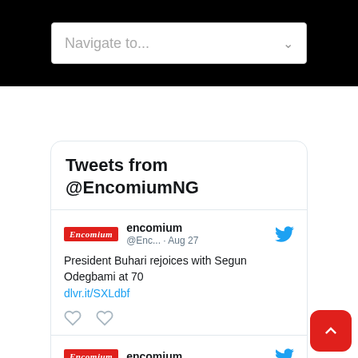Navigate to...
Tweets from @EncomiumNG
encomium @Enc... · Aug 27 President Buhari rejoices with Segun Odegbami at 70 dlvr.it/SXLdbf
encomium